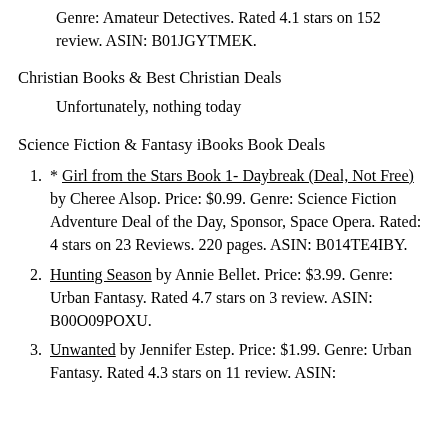Genre: Amateur Detectives. Rated 4.1 stars on 152 review. ASIN: B01JGYTMEK.
Christian Books & Best Christian Deals
Unfortunately, nothing today
Science Fiction & Fantasy iBooks Book Deals
* Girl from the Stars Book 1- Daybreak (Deal, Not Free) by Cheree Alsop. Price: $0.99. Genre: Science Fiction Adventure Deal of the Day, Sponsor, Space Opera. Rated: 4 stars on 23 Reviews. 220 pages. ASIN: B014TE4IBY.
Hunting Season by Annie Bellet. Price: $3.99. Genre: Urban Fantasy. Rated 4.7 stars on 3 review. ASIN: B00O09POXU.
Unwanted by Jennifer Estep. Price: $1.99. Genre: Urban Fantasy. Rated 4.3 stars on 11 review. ASIN: